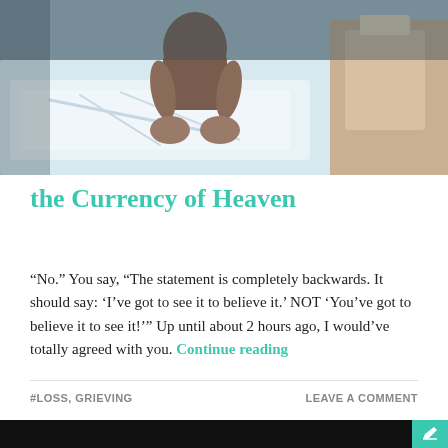[Figure (photo): A person sitting on a bed with white bedding, viewed from behind, in a dimly lit room with teal/blue tones.]
the Currency of Heaven
“No.” You say, “The statement is completely backwards. It should say: ‘I’ve got to see it to believe it.’ NOT ‘You’ve got to believe it to see it!’” Up until about 2 hours ago, I would’ve totally agreed with you. Continue reading
#LOSS, GRIEVING
LEAVE A COMMENT
[Figure (photo): Bottom strip showing a dark/black image area with a teal corner box containing a pencil/edit icon.]